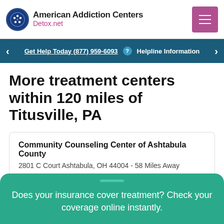American Addiction Centers Detox.net
Get Help Today (877) 959-6093 ? Helpline Information
More treatment centers within 120 miles of Titusville, PA
Community Counseling Center of Ashtabula County
2801 C Court Ashtabula, OH 44004 - 58 Miles Away
★ 4.5 (1)
Gaudenzia Crossroads Erie
Does your insurance cover treatment? Check your coverage online instantly.